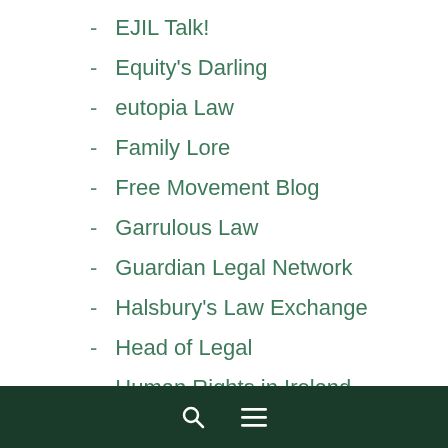EJIL Talk!
Equity's Darling
eutopia Law
Family Lore
Free Movement Blog
Garrulous Law
Guardian Legal Network
Halsbury's Law Exchange
Head of Legal
Human Rights in Ireland
Inforrm's Blog
Inner Temple Current Awareness
Jack of Kent
Joint Council for Welfare of Immigrants
Joshua Rozenberg's Blog
law and lawyers (partial)